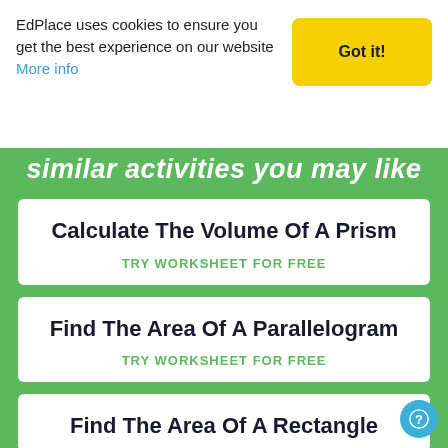EdPlace uses cookies to ensure you get the best experience on our website More info
Got it!
similar activities you may like
Calculate The Volume Of A Prism
TRY WORKSHEET FOR FREE
Find The Area Of A Parallelogram
TRY WORKSHEET FOR FREE
Find The Area Of A Rectangle